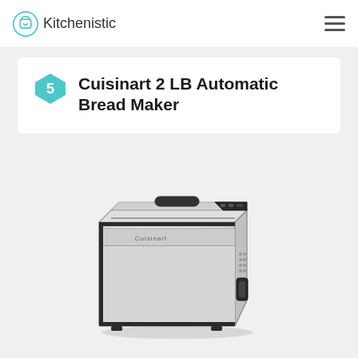Kitchenistic
Cuisinart 2 LB Automatic Bread Maker
[Figure (photo): Cuisinart 2 LB Automatic Bread Maker - stainless steel bread machine with black trim, control panel on the right side, handle on front-right, ventilation holes on right side, and a carry handle on top lid]